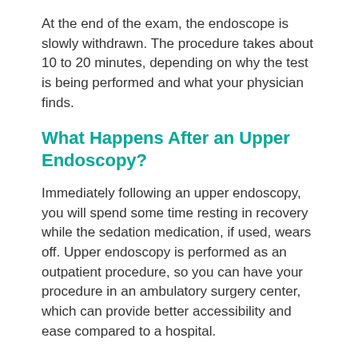At the end of the exam, the endoscope is slowly withdrawn. The procedure takes about 10 to 20 minutes, depending on why the test is being performed and what your physician finds.
What Happens After an Upper Endoscopy?
Immediately following an upper endoscopy, you will spend some time resting in recovery while the sedation medication, if used, wears off. Upper endoscopy is performed as an outpatient procedure, so you can have your procedure in an ambulatory surgery center, which can provide better accessibility and ease compared to a hospital.